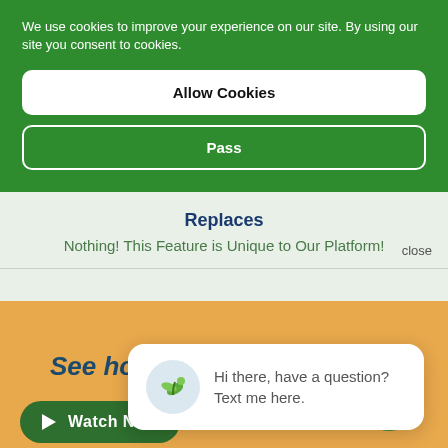We use cookies to improve your experience on our site. By using our site you consent to cookies.
Allow Cookies
Pass
Replaces
Nothing! This Feature is Unique to Our Platform!
close
Hi there, have a question? Text me here.
See how it works in a demo!
Watch Now